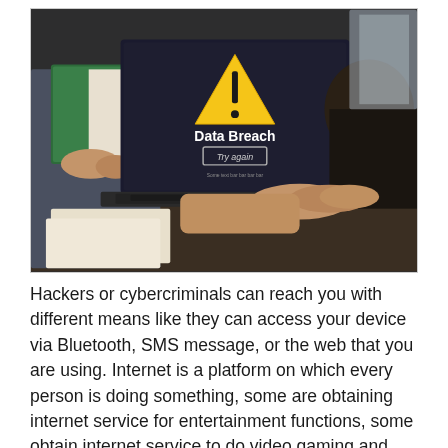[Figure (photo): Photo of people working at a laptop displaying a 'Data Breach' warning screen with a yellow warning triangle and a 'Try again' button. One person is typing on the laptop keyboard while another holds an open book.]
Hackers or cybercriminals can reach you with different means like they can access your device via Bluetooth, SMS message, or the web that you are using. Internet is a platform on which every person is doing something, some are obtaining internet service for entertainment functions, some obtain internet service to do video gaming and